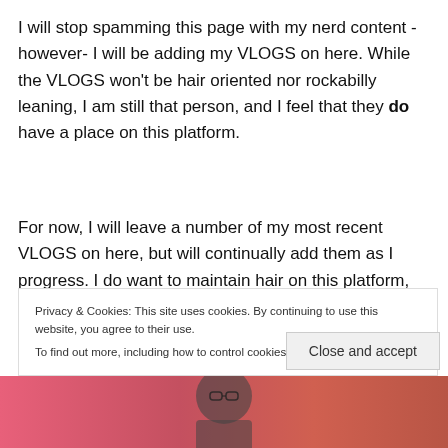I will stop spamming this page with my nerd content - however- I will be adding my VLOGS on here. While the VLOGS won't be hair oriented nor rockabilly leaning, I am still that person, and I feel that they do have a place on this platform.
For now, I will leave a number of my most recent VLOGS on here, but will continually add them as I progress. I do want to maintain hair on this platform, even though I've
Privacy & Cookies: This site uses cookies. By continuing to use this website, you agree to their use.
To find out more, including how to control cookies, see here: Cookie Policy
[Figure (photo): Bottom strip showing partial photo of a person wearing glasses, against a pink/red gradient background]